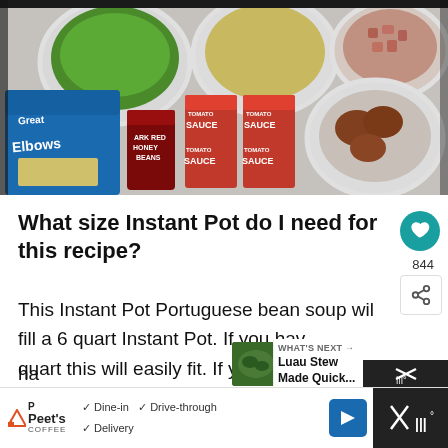[Figure (photo): Overhead shot of ingredients for Portuguese bean soup: bowls of greens, potatoes, diced meat, canned tomato sauce, dark red kidney beans can, pasta box, and cooked chicken pieces on a marble surface.]
What size Instant Pot do I need for this recipe?
This Instant Pot Portuguese bean soup wil fill a 6 quart Instant Pot. If you hav quart this will easily fit. If you happen to
[Figure (photo): Small thumbnail of Luau stew dish]
WHAT'S NEXT → Luau Stew Made Quick...
844
Peets COFFEE  ✓ Dine-in  ✓ Drive-through  ✓ Delivery